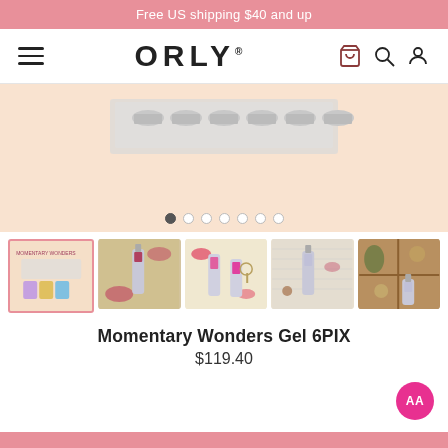Free US shipping $40 and up
[Figure (screenshot): ORLY navigation bar with hamburger menu, ORLY logo, cart icon, search icon, and user icon]
[Figure (photo): Product carousel showing ORLY nail gel product boxes on peach background with 7 navigation dots]
[Figure (photo): Row of 5 product thumbnail images showing Momentary Wonders Gel 6PIX nail gel sets in various styled photos]
Momentary Wonders Gel 6PIX
$119.40